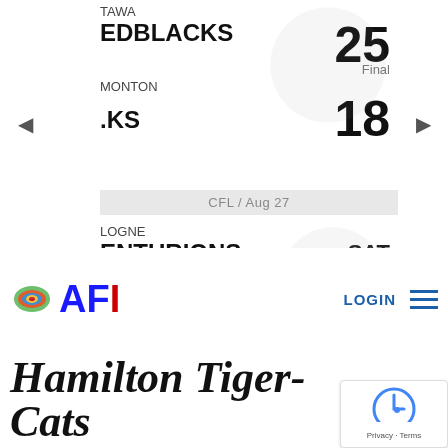[Figure (screenshot): Sports scores widget showing CFL game: Ottawa Redblacks 25, Edmonton Elks 18 (Final); and ELF game: Cologne Centurions vs Istanbul Rams (SAT 10:00AM). Navigation arrows on left and right.]
[Figure (logo): AFI (American Football International) logo with football emoji and blue/red letters]
LOGIN
Hamilton Tiger-Cats